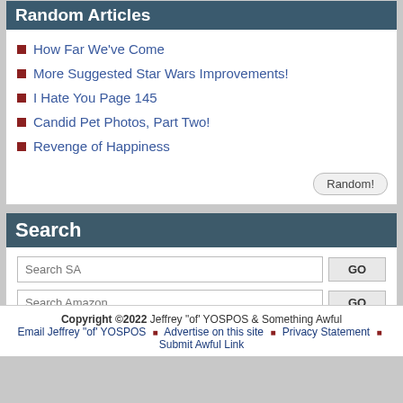Random Articles
How Far We've Come
More Suggested Star Wars Improvements!
I Hate You Page 145
Candid Pet Photos, Part Two!
Revenge of Happiness
Search
Search SA
Search Amazon
Email Jeffrey "of" YOSPOS
Advertise on SA
Copyright ©2022 Jeffrey "of" YOSPOS & Something Awful Email Jeffrey "of" YOSPOS • Advertise on this site • Privacy Statement • Submit Awful Link